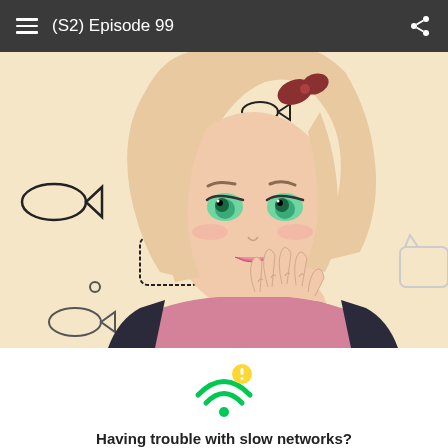(S2) Episode 99
[Figure (illustration): Webtoon manga panel showing a blonde anime girl with green eyes wearing a pink hoodie, hand near chin, against a warm background with cat face and fish doodles]
[Figure (infographic): Green WiFi icon with a yellow exclamation mark badge indicating slow network warning]
Having trouble with slow networks?
Download stories on your phone and read offline!
Go to the WEBTOON app